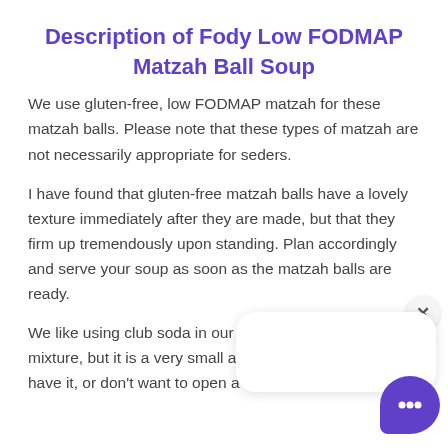Description of Fody Low FODMAP Matzah Ball Soup
We use gluten-free, low FODMAP matzah for these matzah balls. Please note that these types of matzah are not necessarily appropriate for seders.
I have found that gluten-free matzah balls have a lovely texture immediately after they are made, but that they firm up tremendously upon standing. Plan accordingly and serve your soup as soon as the matzah balls are ready.
We like using club soda in our low FODMAP matzah ball mixture, but it is a very small amount and if you don't have it, or don't want to open a bottle, simply use water.